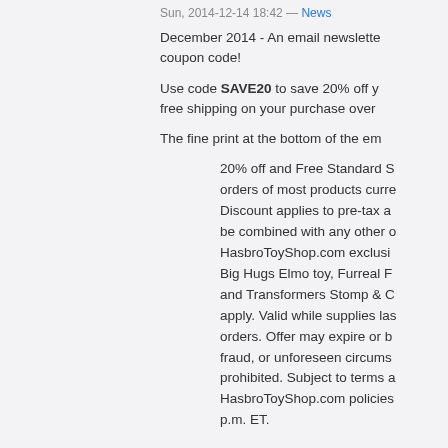Sun, 2014-12-14 18:42 — News
December 2014 - An email newsletter coupon code!
Use code SAVE20 to save 20% off y... free shipping on your purchase over...
The fine print at the bottom of the em...
20% off and Free Standard S... orders of most products curre... Discount applies to pre-tax a... be combined with any other o... HasbroToyShop.com exclusi... Big Hugs Elmo toy, Furreal F... and Transformers Stomp & C... apply. Valid while supplies las... orders. Offer may expire or b... fraud, or unforeseen circums... prohibited. Subject to terms a... HasbroToyShop.com policies... p.m. ET.